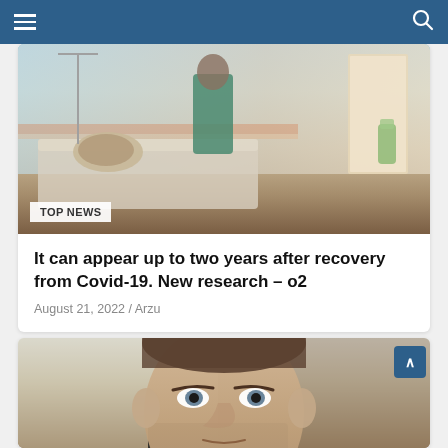Navigation bar with menu and search
[Figure (photo): Hospital room with a patient lying in bed and a medical professional in green scrubs standing nearby. Medical equipment and IV lines visible.]
TOP NEWS
It can appear up to two years after recovery from Covid-19. New research – o2
August 21, 2022 / Arzu
[Figure (photo): Close-up photo of Mark Zuckerberg looking upward, appearing to be at a congressional hearing or formal event.]